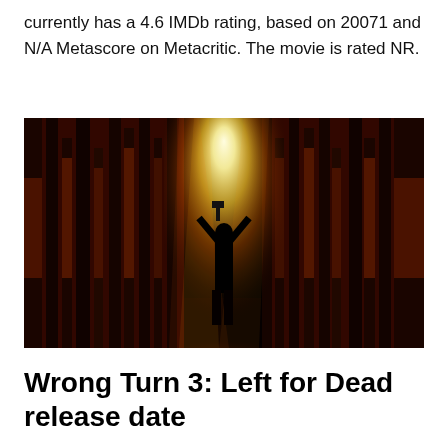currently has a 4.6 IMDb rating, based on 20071 and N/A Metascore on Metacritic. The movie is rated NR.
[Figure (photo): Dark horror movie promotional image showing a silhouetted figure with arms raised holding a weapon, standing in a forest with dramatic bright light beaming through tall dark trees, with red-orange atmospheric lighting.]
Wrong Turn 3: Left for Dead release date